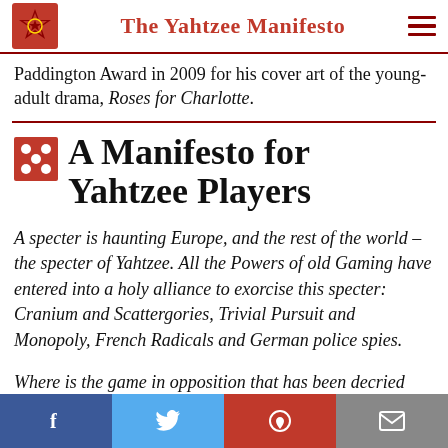The Yahtzee Manifesto
Paddington Award in 2009 for his cover art of the young-adult drama, Roses for Charlotte.
A Manifesto for Yahtzee Players
A specter is haunting Europe, and the rest of the world – the specter of Yahtzee. All the Powers of old Gaming have entered into a holy alliance to exorcise this specter: Cranium and Scattergories, Trivial Pursuit and Monopoly, French Radicals and German police spies.
Where is the game in opposition that has been decried
[Figure (infographic): Social share bar with Facebook (blue), Twitter (light blue), Pinterest (red), and email (grey) buttons]